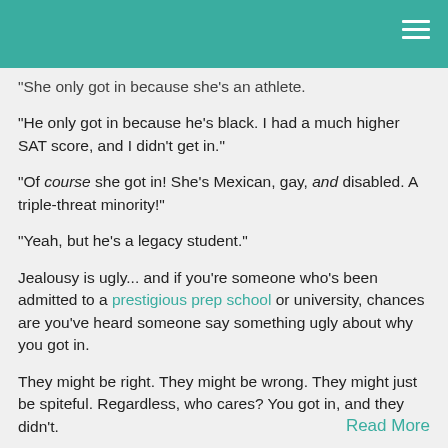"She only got in because she's an athlete."
"He only got in because he's black. I had a much higher SAT score, and I didn't get in."
"Of course she got in! She's Mexican, gay, and disabled. A triple-threat minority!"
"Yeah, but he's a legacy student."
Jealousy is ugly... and if you're someone who's been admitted to a prestigious prep school or university, chances are you've heard someone say something ugly about why you got in.
They might be right. They might be wrong. They might just be spiteful. Regardless, who cares? You got in, and they didn't.
Read More